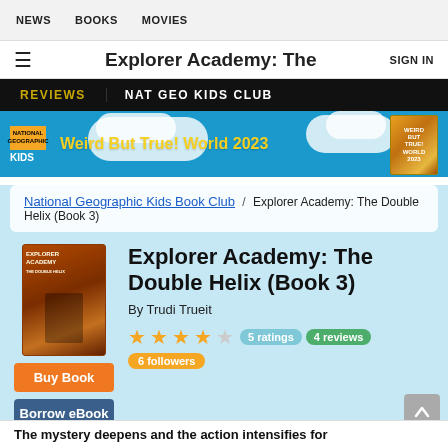NEWS   BOOKS   MOVIES
Explorer Academy: The   SIGN IN
REVIEWS   NAT GEO KIDS CLUB
[Figure (illustration): National Geographic Kids advertisement banner with yellow 'Weird But True! World 2023' text on blue background with book image]
National Geographic Kids Book Club / Explorer Academy: The Double Helix (Book 3)
Explorer Academy: The Double Helix (Book 3)
By Trudi Trueit
3.5 stars   5 ratings   4 reviews   6 followers
The mystery deepens and the action intensifies for